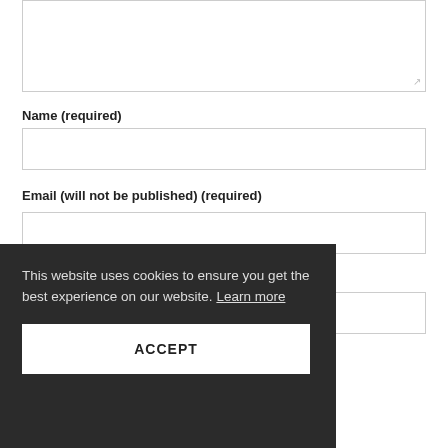[Textarea input field]
Name (required)
[Name input field]
Email (will not be published) (required)
[Email input field]
[Website input field]
This website uses cookies to ensure you get the best experience on our website. Learn more
ACCEPT
Submit Comment